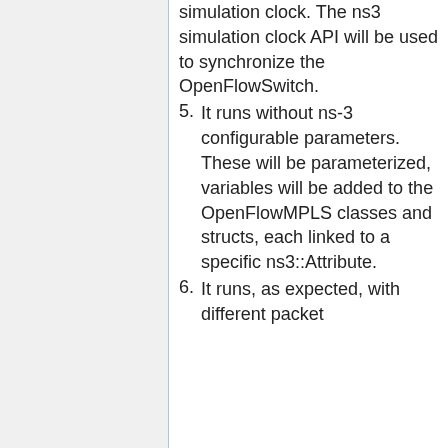simulation clock. The ns3 simulation clock API will be used to synchronize the OpenFlowSwitch.
5. It runs without ns-3 configurable parameters. These will be parameterized, variables will be added to the OpenFlowMPLS classes and structs, each linked to a specific ns3::Attribute.
6. It runs, as expected, with different packet